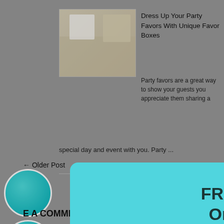[Figure (screenshot): Website screenshot showing a blog post about party favor boxes with a popup modal overlay offering free shipping with coupon code FREESHIP3]
Dress Up Your Party Favors With Unique Favor Boxes
Party favors are a great way to show your guests you appreciate them sharing a special day and event with you. Party ...
FREE SHIPPING
On All Orders!
On every order placed during the month of March 2017!
Use coupon code: FREESHIP3
← Older Post
Newer Post →
E A COMMENT